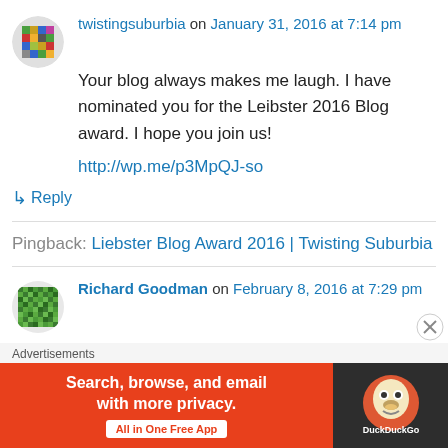twistingsuburbia on January 31, 2016 at 7:14 pm
Your blog always makes me laugh. I have nominated you for the Leibster 2016 Blog award. I hope you join us!
http://wp.me/p3MpQJ-so
↳ Reply
Pingback: Liebster Blog Award 2016 | Twisting Suburbia
[Figure (illustration): Avatar icon for Richard Goodman, a pixelated/mosaic style green avatar]
Richard Goodman on February 8, 2016 at 7:29 pm
Just read your latest essay. If I was your mother,
Advertisements
[Figure (screenshot): DuckDuckGo advertisement banner: Search, browse, and email with more privacy. All in One Free App]